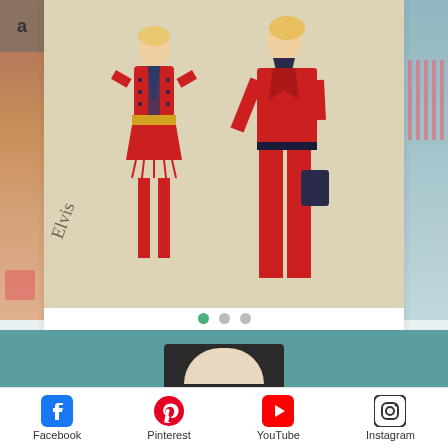[Figure (photo): Fashion illustration sketch of two figures in red outfits, with handwritten 'Elvis' text, displayed in a white card on a light blue background. Partial images visible on left and right sides.]
Elvis Fashion Fun
[Figure (other): Carousel navigation dots: one green filled dot and two grey dots]
[Figure (photo): Teal banner with partial photo of a person at the bottom]
Facebook
Pinterest
YouTube
Instagram